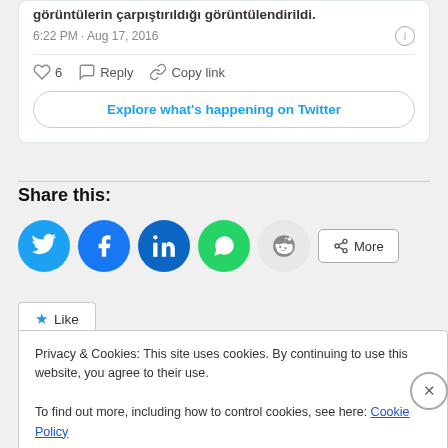görüntülerin çarpıştırıldığı görüntülendirildi.
6:22 PM · Aug 17, 2016
♡ 6   Reply   Copy link
Explore what's happening on Twitter
Share this:
[Figure (infographic): Social share buttons: Twitter (blue circle), Facebook (blue circle), LinkedIn (dark blue circle), WhatsApp (green circle), Reddit (light gray circle), and a More button]
★ Like
Privacy & Cookies: This site uses cookies. By continuing to use this website, you agree to their use.
To find out more, including how to control cookies, see here: Cookie Policy
Close and accept